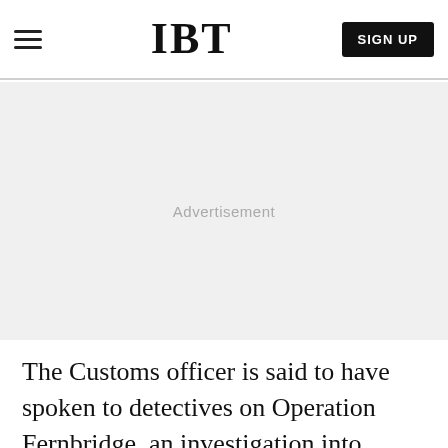IBT | SIGN UP
[Figure (other): Advertisement placeholder area with grey background and 'Advertisement' label]
The Customs officer is said to have spoken to detectives on Operation Fernbridge, an investigation into allegations of sexual abuse by